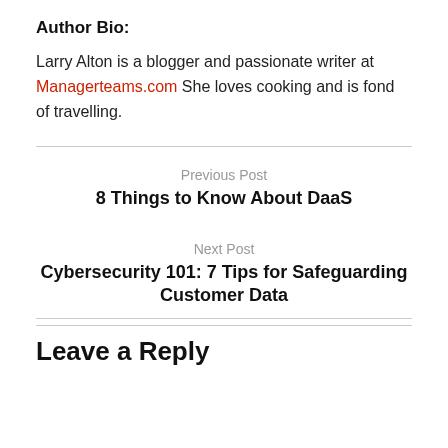Author Bio:
Larry Alton is a blogger and passionate writer at Managerteams.com She loves cooking and is fond of travelling.
Previous Post
8 Things to Know About DaaS
Next Post
Cybersecurity 101: 7 Tips for Safeguarding Customer Data
Leave a Reply